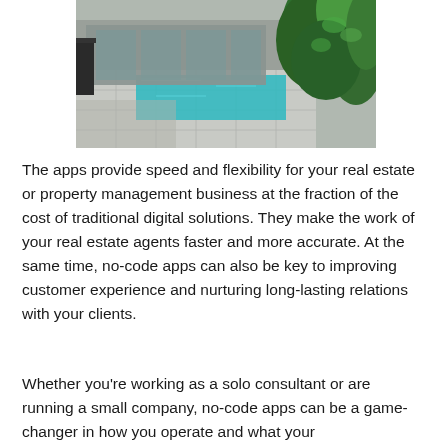[Figure (photo): Exterior photo of a modern property showing a tiled walkway, a turquoise swimming pool reflecting sunlight, large glass windows/doors of a building, and lush green tropical foliage on the right side.]
The apps provide speed and flexibility for your real estate or property management business at the fraction of the cost of traditional digital solutions. They make the work of your real estate agents faster and more accurate. At the same time, no-code apps can also be key to improving customer experience and nurturing long-lasting relations with your clients.
Whether you're working as a solo consultant or are running a small company, no-code apps can be a game-changer in how you operate and what your...